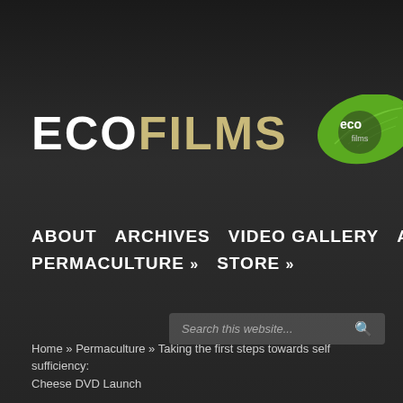[Figure (logo): EcoFilms logo with large bold text 'ECOFILMS' where ECO is white and FILMS is tan/gold, accompanied by a green leaf graphic with 'eco films' text overlaid]
ABOUT   ARCHIVES   VIDEO GALLERY   AQUAPONICS »   PERMACULTURE »   STORE »
Search this website...
Home » Permaculture » Taking the first steps towards self sufficiency: Cheese DVD Launch